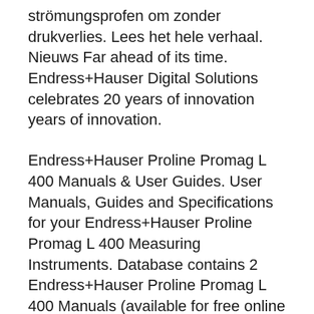strömungsprofen om zonder drukverlies. Lees het hele verhaal. Nieuws Far ahead of its time. Endress+Hauser Digital Solutions celebrates 20 years of innovation years of innovation.
Endress+Hauser Proline Promag L 400 Manuals & User Guides. User Manuals, Guides and Specifications for your Endress+Hauser Proline Promag L 400 Measuring Instruments. Database contains 2 Endress+Hauser Proline Promag L 400 Manuals (available for free online viewing or downloading in PDF): Operating instructions manual . 01439262, Flowmeter. them Defaults are listed in the Reference Manual for each instruction 18, 19. Endress +